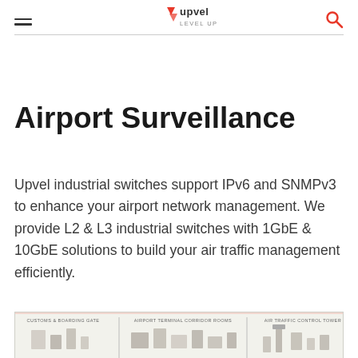Upvel Level Up — navigation header with hamburger menu, logo, and search icon
Airport Surveillance
Upvel industrial switches support IPv6 and SNMPv3 to enhance your airport network management. We provide L2 & L3 industrial switches with 1GbE & 10GbE solutions to build your air traffic management efficiently.
[Figure (schematic): Airport network diagram strip showing customs & boarding gate, airport terminal corridor rooms, and air traffic control tower sections]